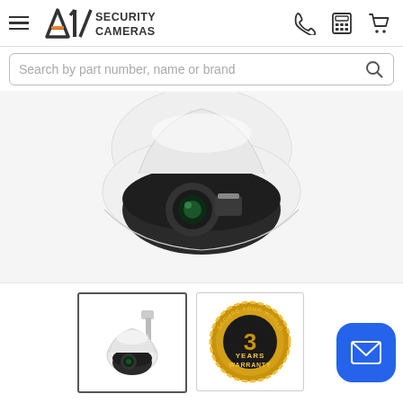A1 Security Cameras — navigation header with logo, phone, calculator, and cart icons
Search by part number, name or brand
[Figure (photo): White dome PTZ security camera with dark lower dome housing showing lens, viewed from below against white background]
[Figure (photo): Small thumbnail of white dome PTZ security camera mounted on wall bracket]
[Figure (photo): 3 Years Warranty gold badge/seal]